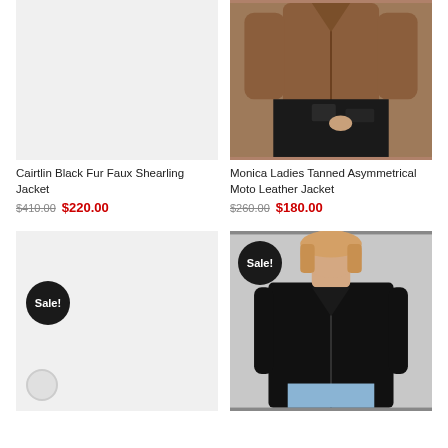[Figure (photo): Product image placeholder for Cairtlin Black Fur Faux Shearling Jacket - light gray background]
[Figure (photo): Photo of Monica Ladies Tanned Asymmetrical Moto Leather Jacket - brown leather jacket worn with black jeans]
Cairtlin Black Fur Faux Shearling Jacket
$410.00  $220.00
Monica Ladies Tanned Asymmetrical Moto Leather Jacket
$260.00  $180.00
[Figure (photo): Product image placeholder with Sale! badge - light gray background, white color swatch at bottom]
[Figure (photo): Photo of woman wearing black leather jacket with Sale! badge - model shown from shoulders up, light blue jeans visible]